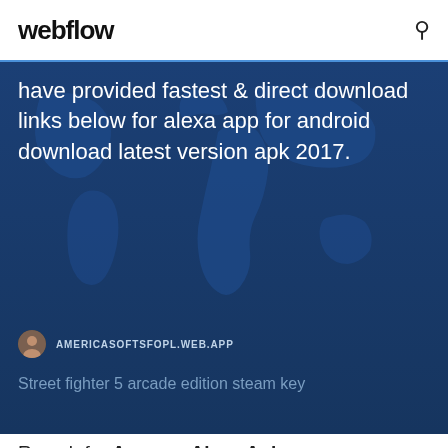webflow
[Figure (screenshot): Hero banner with dark blue world map background]
have provided fastest & direct download links below for alexa app for android download latest version apk 2017.
AMERICASOFTSFOPL.WEB.APP
Street fighter 5 arcade edition steam key
Reverb for Amazon Alexa Apk
Download Download Amazon Alexa APK